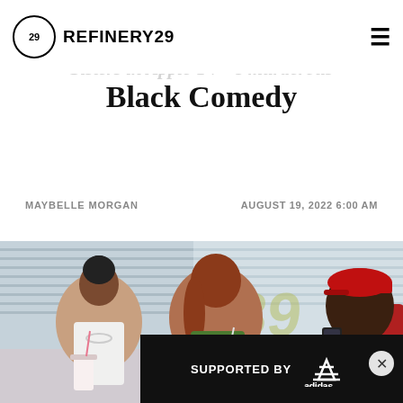REFINERY29
Black Comedy
MAYBELLE MORGAN    AUGUST 19, 2022 6:00 AM
[Figure (photo): Two women and a man sitting in a diner booth. A woman with dark hair in a bun wearing a white tank top and silver necklace, a woman with long red hair wearing a green patterned outfit, and a man in a red cap holding a phone, visible from the side. There is a diner window with blinds and a '39' sign in the background.]
SUPPORTED BY adidas